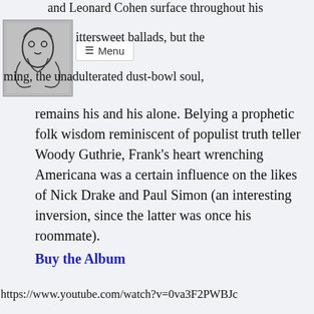[Figure (illustration): Small thumbnail image of a hand-drawn or sketched illustration, possibly a face or abstract figure in black and white]
≡ Menu
ittersweet ballads, but the ming, the unadulterated dust-bowl soul, remains his and his alone. Belying a prophetic folk wisdom reminiscent of populist truth teller Woody Guthrie, Frank's heart wrenching Americana was a certain influence on the likes of Nick Drake and Paul Simon (an interesting inversion, since the latter was once his roommate).
Buy the Album
https://www.youtube.com/watch?v=0va3F2PWBJc